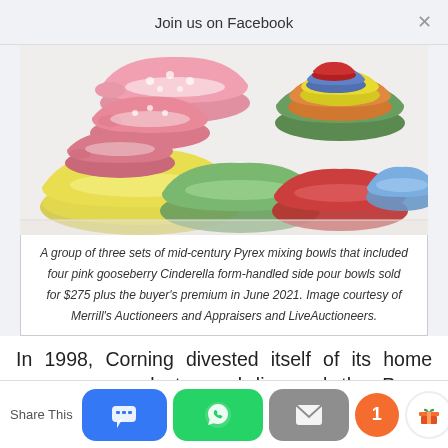Join us on Facebook
[Figure (photo): A group of colorful mid-century Pyrex mixing bowls — pink gooseberry Cinderella form handled side pour bowls on the left, and stacked multicolor bowls (green, orange, yellow, blue, red) on the right, on a white background.]
A group of three sets of mid-century Pyrex mixing bowls that included four pink gooseberry Cinderella form-handled side pour bowls sold for $275 plus the buyer's premium in June 2021. Image courtesy of Merrill's Auctioneers and Appraisers and LiveAuctioneers.
In 1998, Corning divested itself of its home consumer products, and licensed the Pyrex brand to another entity. While the new maker of Pyrex still offers
Share This